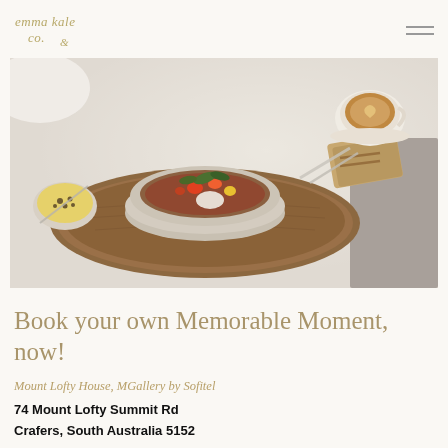emma kale co. [logo] [hamburger menu]
[Figure (photo): Overhead food photography showing a ceramic bowl with salad topped with vegetables and white cheese on a wooden board, with a cup of coffee with latte art, grilled toast, and a small bowl of passion fruit, set on a white tablecloth]
Book your own Memorable Moment, now!
Mount Lofty House, MGallery by Sofitel
74 Mount Lofty Summit Rd
Crafers, South Australia 5152